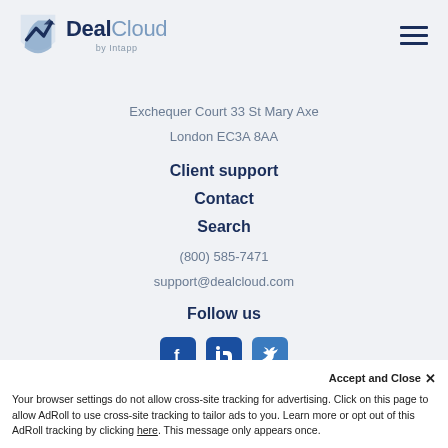DealCloud by Intapp
Exchequer Court 33 St Mary Axe
London EC3A 8AA
Client support
Contact
Search
(800) 585-7471
support@dealcloud.com
Follow us
[Figure (other): Social media icons: Facebook, LinkedIn, Twitter]
Accept and Close ✕
Your browser settings do not allow cross-site tracking for advertising. Click on this page to allow AdRoll to use cross-site tracking to tailor ads to you. Learn more or opt out of this AdRoll tracking by clicking here. This message only appears once.